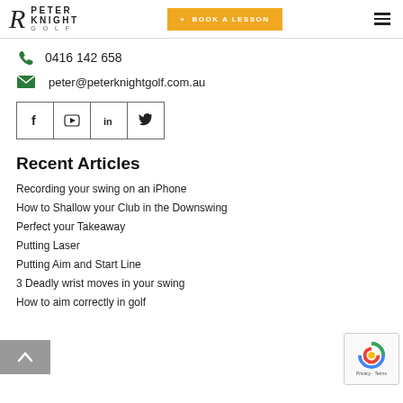Peter Knight Golf — BOOK A LESSON
0416 142 658
peter@peterknightgolf.com.au
[Figure (infographic): Social media icons: Facebook, YouTube, LinkedIn, Twitter in bordered square boxes]
Recent Articles
Recording your swing on an iPhone
How to Shallow your Club in the Downswing
Perfect your Takeaway
Putting Laser
Putting Aim and Start Line
3 Deadly wrist moves in your swing
How to aim correctly in golf